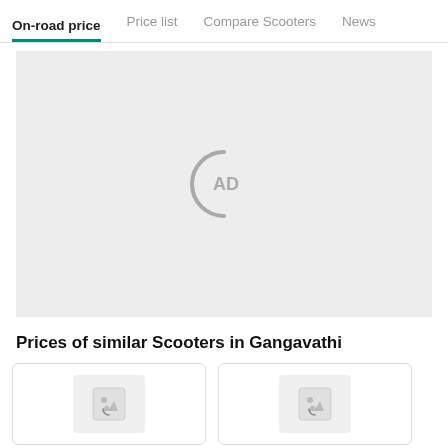On-road price | Price list | Compare Scooters | News
[Figure (other): Advertisement placeholder with AD icon inside a circular arc on light grey background]
Prices of similar Scooters in Gangavathi
[Figure (other): Loading card with image placeholder spinner icon]
[Figure (other): Loading card with image placeholder spinner icon]